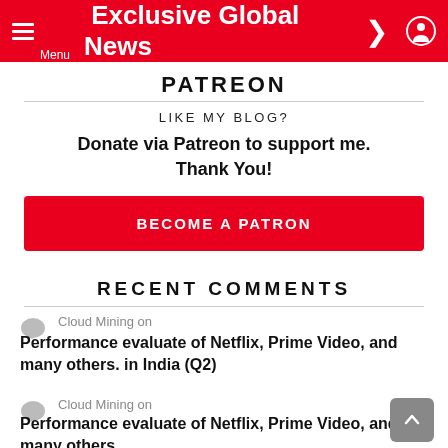Exclusive Global News
PATREON
LIKE MY BLOG?
Donate via Patreon to support me. Thank You!
BECOME A PATRON
RECENT COMMENTS
Cloud Mining on
Performance evaluate of Netflix, Prime Video, and many others. in India (Q2)
Cloud Mining on
Performance evaluate of Netflix, Prime Video, and many others.